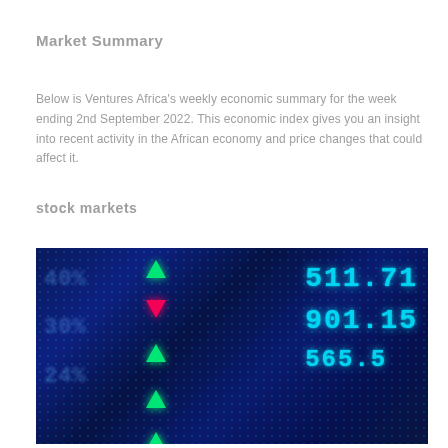Market Summary
Below is Ventures Africa's weekly economic summary for the week ending 2nd September 2022. This economic index gives you an insight into recent activity in the African economy and price changes that could affect it.
stock markets
[Figure (photo): Stock market digital ticker board showing numbers 511.71, 901.15, 565 in cyan/blue LED display with green up arrows and a red down arrow indicator on a dark blue background.]